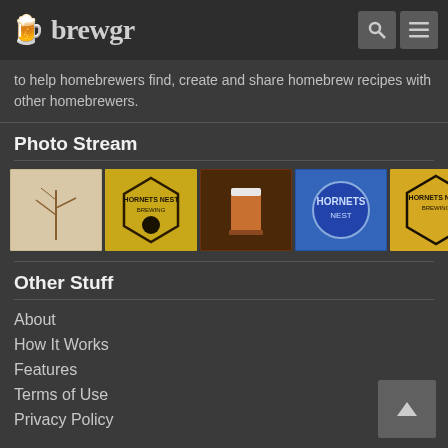brewgr
to help homebrewers find, create and share homebrew recipes with other homebrewers.
Photo Stream
[Figure (photo): A horizontal photo stream strip showing 8 thumbnail images including Hornets Nest Brewing logos, beer photos, and a chart]
Other Stuff
About
How It Works
Features
Terms of Use
Privacy Policy